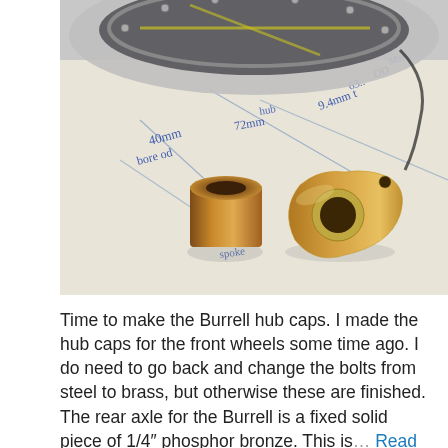[Figure (photo): Photograph of two brass/bronze machined parts — a small cylindrical collar and a teardrop-shaped plate with a central hole — lying on a paper design sketch with handwritten dimensions. A metallic wheel hub is partially visible in the upper portion of the photo.]
Time to make the Burrell hub caps. I made the hub caps for the front wheels some time ago. I do need to go back and change the bolts from steel to brass, but otherwise these are finished. The rear axle for the Burrell is a fixed solid piece of 1/4″ phosphor bronze. This is... Read more